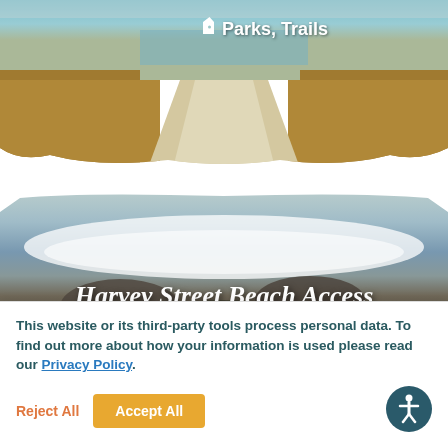[Figure (photo): Trail path through dry grass with ocean visible in background, brown brush stroke overlay. Tag label 'Parks, Trails' with tag icon in white text.]
[Figure (photo): Rocky beach with ocean waves and white foam, dark rocks. Title 'Harvey Street Beach Access' in white italic bold text. Tag label 'Beaches' with tag icon in white text.]
This website or its third-party tools process personal data. To find out more about how your information is used please read our Privacy Policy.
Reject All
Accept All